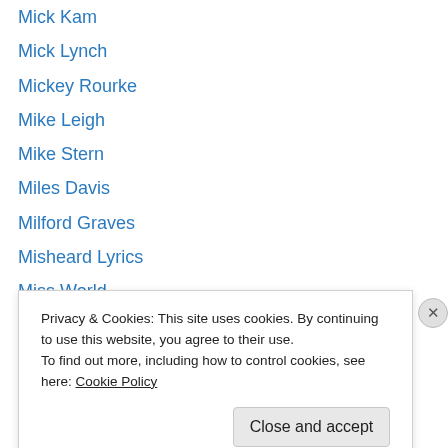Mick Kam
Mick Lynch
Mickey Rourke
Mike Leigh
Mike Stern
Miles Davis
Milford Graves
Misheard Lyrics
Miss World
Moonlighting
Mose Allison
Movie Moments
Movie Taglines
Moviedrome
Privacy & Cookies: This site uses cookies. By continuing to use this website, you agree to their use.
To find out more, including how to control cookies, see here: Cookie Policy
Close and accept